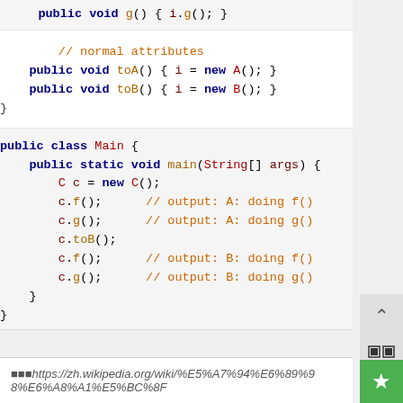public void g() { i.g(); }
// normal attributes
public void toA() { i = new A(); }
public void toB() { i = new B(); }
}

public class Main {
    public static void main(String[] args) {
        C c = new C();
        c.f();      // output: A: doing f()
        c.g();      // output: A: doing g()
        c.toB();
        c.f();      // output: B: doing f()
        c.g();      // output: B: doing g()
    }
}
■■■https://zh.wikipedia.org/wiki/%E5%A7%94%E6%89%98%E6%A8%A1%E5%BC%8F